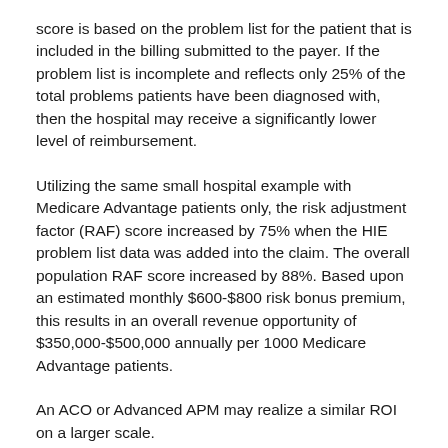score is based on the problem list for the patient that is included in the billing submitted to the payer. If the problem list is incomplete and reflects only 25% of the total problems patients have been diagnosed with, then the hospital may receive a significantly lower level of reimbursement.
Utilizing the same small hospital example with Medicare Advantage patients only, the risk adjustment factor (RAF) score increased by 75% when the HIE problem list data was added into the claim. The overall population RAF score increased by 88%. Based upon an estimated monthly $600-$800 risk bonus premium, this results in an overall revenue opportunity of $350,000-$500,000 annually per 1000 Medicare Advantage patients.
An ACO or Advanced APM may realize a similar ROI on a larger scale.